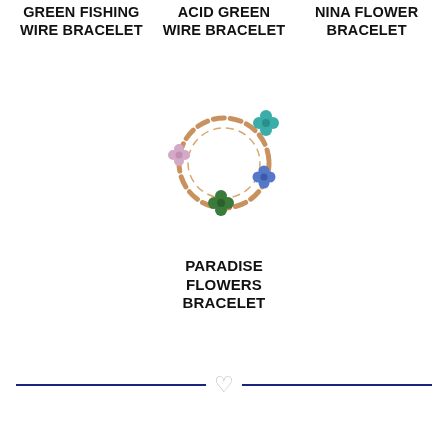[Figure (photo): Partial top view of three bracelet product images: Green Fishing Wire Bracelet (left), Acid Green Wire Bracelet (center), Nina Flower Bracelet (right)]
GREEN FISHING WIRE BRACELET
ACID GREEN WIRE BRACELET
NINA FLOWER BRACELET
[Figure (photo): Paradise Flowers Bracelet – a gold chain bracelet with colorful flower charms (teal, green, blue, and pink)]
PARADISE FLOWERS BRACELET
[Figure (illustration): Decorative divider: two dark navy horizontal lines with a light gray heart icon centered between them]